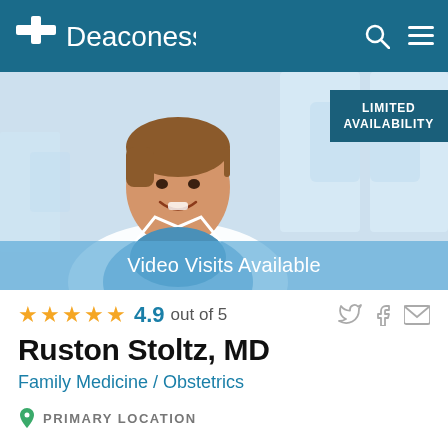Deaconess
[Figure (photo): Doctor Ruston Stoltz MD in white coat smiling, with 'Limited Availability' badge in upper right and 'Video Visits Available' banner at bottom]
★★★★★ 4.9 out of 5
Ruston Stoltz, MD
Family Medicine / Obstetrics
PRIMARY LOCATION